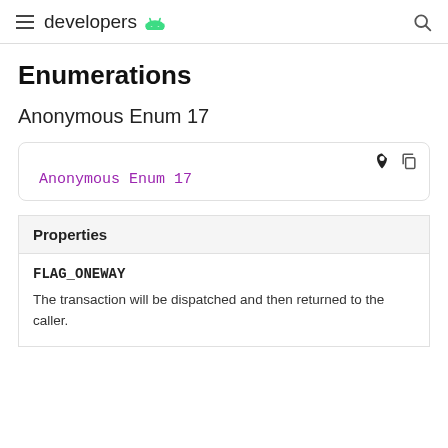developers
Enumerations
Anonymous Enum 17
Anonymous Enum 17
| Properties |
| --- |
| FLAG_ONEWAY | The transaction will be dispatched and then returned to the caller. |